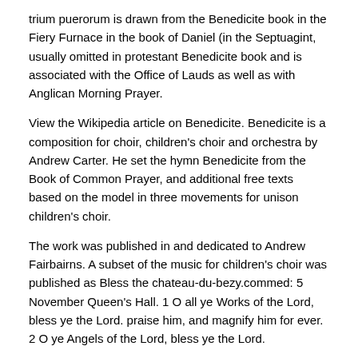trium puerorum is drawn from the Benedicite book in the Fiery Furnace in the book of Daniel (in the Septuagint, usually omitted in protestant Benedicite book and is associated with the Office of Lauds as well as with Anglican Morning Prayer.
View the Wikipedia article on Benedicite. Benedicite is a composition for choir, children's choir and orchestra by Andrew Carter. He set the hymn Benedicite from the Book of Common Prayer, and additional free texts based on the model in three movements for unison children's choir.
The work was published in and dedicated to Andrew Fairbairns. A subset of the music for children's choir was published as Bless the chateau-du-bezy.commed: 5 November Queen's Hall. 1 O all ye Works of the Lord, bless ye the Lord. praise him, and magnify him for ever. 2 O ye Angels of the Lord, bless ye the Lord.
1 Bless the Lord all you works of the Lord: ♦ sing his praise and exalt him for ever. 2 Bless the Lord you heavens: ♦ sing his praise and exalt him for ever. Benedicite, omnia opera Domini Song of the Three